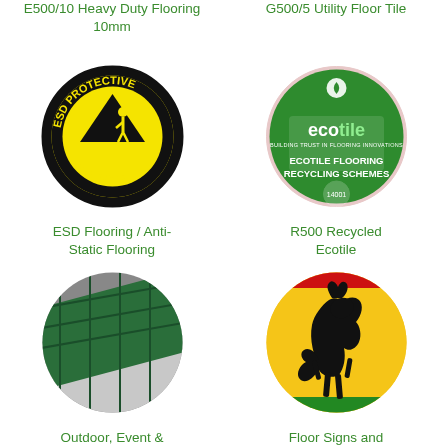E500/10 Heavy Duty Flooring 10mm
G500/5 Utility Floor Tile
[Figure (logo): ESD Protective Flooring circular badge — black circle border, yellow background with black triangle mountain and person silhouette, text 'ESD PROTECTIVE FLOORING' around the edge]
[Figure (logo): Ecotile Flooring Recycling Schemes circular badge — green background with white 'ecotile' logo and text 'ECOTILE FLOORING RECYCLING SCHEMES', ISO 14001 certification mark]
ESD Flooring / Anti-Static Flooring
R500 Recycled Ecotile
[Figure (photo): Circular photo showing stacked layers of green and grey/white outdoor flooring tiles at an angle]
[Figure (photo): Circular photo showing a Ferrari prancing horse logo floor sign — black horse on yellow background with red and green stripe]
Outdoor, Event & Pool Flooring
Floor Signs and Logos